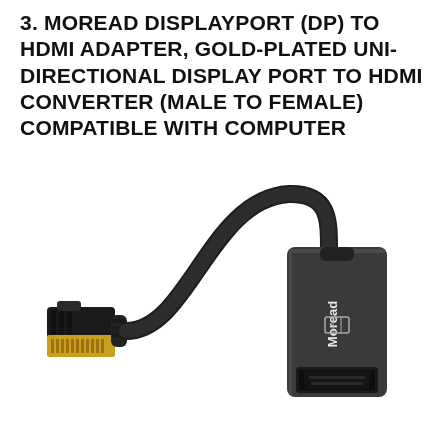3. MOREAD DISPLAYPORT (DP) TO HDMI ADAPTER, GOLD-PLATED UNI-DIRECTIONAL DISPLAY PORT TO HDMI CONVERTER (MALE TO FEMALE) COMPATIBLE WITH COMPUTER
[Figure (photo): A Moread DisplayPort to HDMI adapter. The left side shows a gold-plated DisplayPort male connector attached to a black cable that curves upward. The right side shows a dark grey rectangular HDMI female port housing with the Moread brand name printed on it in white text, and an HDMI port opening at the bottom.]